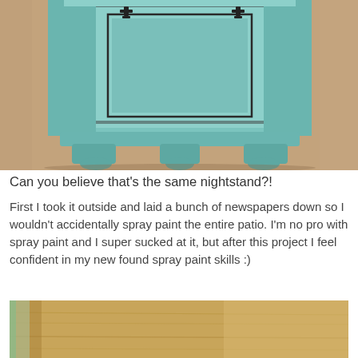[Figure (photo): Close-up photo of a refinished hexagonal nightstand painted in a light teal/turquoise color with dark distressed edges and ornamental details, sitting on a beige carpet.]
Can you believe that's the same nightstand?!
First I took it outside and laid a bunch of newspapers down so I wouldn't accidentally spray paint the entire patio. I'm no pro with spray paint and I super sucked at it, but after this project I feel confident in my new found spray paint skills :)
[Figure (photo): Partial view of a wooden surface with natural wood grain, possibly a piece of furniture before refinishing, on an outdoor surface.]